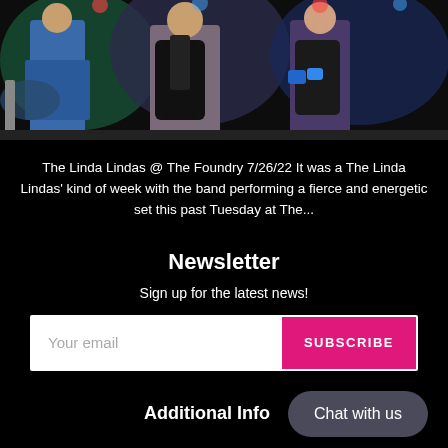[Figure (photo): The Linda Lindas performing on stage at The Foundry, musicians playing guitars under colorful stage lighting]
The Linda Lindas @ The Foundry 7/26/22 It was a The Linda Lindas' kind of week with the band performing a fierce and energetic set this past Tuesday at The...
Newsletter
Sign up for the latest news!
Your email | SUBSCRIBE
Additional Info
Chat with us
Search
Search